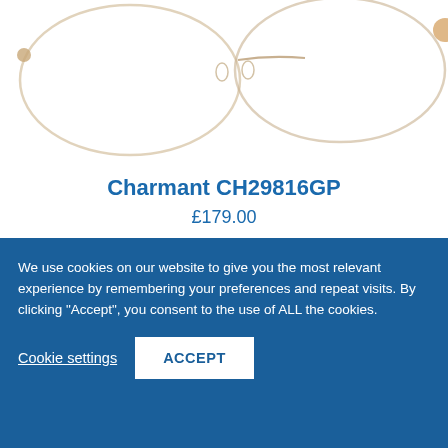[Figure (photo): Partial top view of rimless/semi-rimless gold eyeglasses frames against white background]
Charmant CH29816GP
£179.00
Choose Lens Option
[Figure (photo): Partial view of a second pair of glasses frames with reddish/pink temples, cropped at bottom of page]
We use cookies on our website to give you the most relevant experience by remembering your preferences and repeat visits. By clicking "Accept", you consent to the use of ALL the cookies.
Cookie settings
ACCEPT